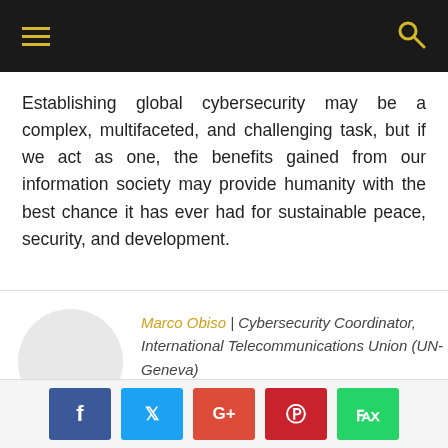[Navigation bar with hamburger menu and search icon]
Establishing global cybersecurity may be a complex, multifaceted, and challenging task, but if we act as one, the benefits gained from our information society may provide humanity with the best chance it has ever had for sustainable peace, security, and development.
Marco Obiso | Cybersecurity Coordinator, International Telecommunications Union (UN-Geneva)
[Figure (other): Social media share buttons: Facebook, Twitter, Google+, Pinterest, WhatsApp]